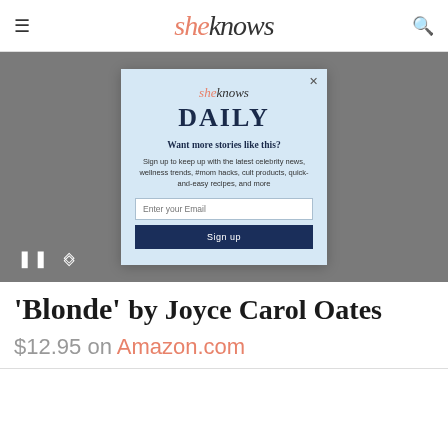sheknows
[Figure (screenshot): Video player area with gray background, pause and expand controls at bottom left, and a modal popup overlay with SheKnows Daily newsletter signup form]
'Blonde' by Joyce Carol Oates
$12.95 on Amazon.com